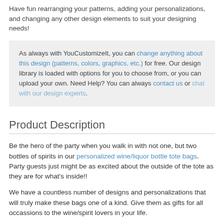Have fun rearranging your patterns, adding your personalizations, and changing any other design elements to suit your designing needs!
As always with YouCustomizeIt, you can change anything about this design (patterns, colors, graphics, etc.) for free. Our design library is loaded with options for you to choose from, or you can upload your own. Need Help? You can always contact us or chat with our design experts.
Product Description
Be the hero of the party when you walk in with not one, but two bottles of spirits in our personalized wine/liquor bottle tote bags. Party guests just might be as excited about the outside of the tote as they are for what's inside!!
We have a countless number of designs and personalizations that will truly make these bags one of a kind. Give them as gifts for all occassions to the wine/spirit lovers in your life.
These tote bags are insulated to keep the bottles cold and...